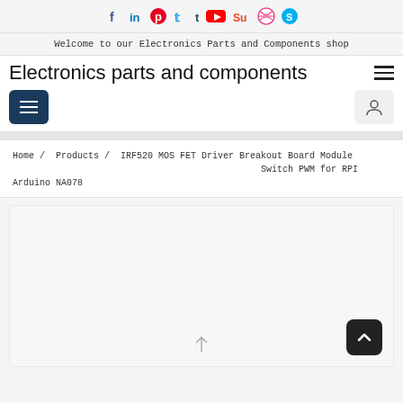Social media icons: facebook, linkedin, pinterest, twitter, tumblr, youtube, stumbleupon, dribbble, skype
Welcome to our Electronics Parts and Components shop
Electronics parts and components
Home / Products / IRF520 MOS FET Driver Breakout Board Module Switch PWM for RPI Arduino NA078
[Figure (photo): Product image area for IRF520 MOS FET Driver Breakout Board Module, light gray background with partial product image visible at bottom]